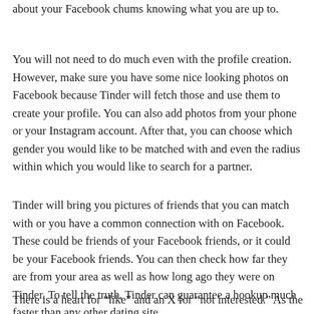about your Facebook chums knowing what you are up to.
You will not need to do much even with the profile creation. However, make sure you have some nice looking photos on Facebook because Tinder will fetch those and use them to create your profile. You can also add photos from your phone or your Instagram account. After that, you can choose which gender you would like to be matched with and even the radius within which you would like to search for a partner.
Tinder will bring you pictures of friends that you can match with or you have a common connection with on Facebook. These could be friends of your Facebook friends, or it could be your Facebook friends. You can then check how far they are from your area as well as how long ago they were on Tinder. To tell the truth, Tinder can guarantee a hookup much faster than any other dating site.
There is a heart for “like” and an X for “not interested.” As the